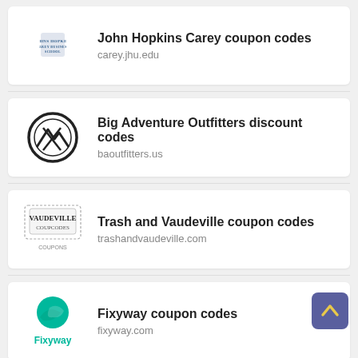John Hopkins Carey coupon codes
carey.jhu.edu
Big Adventure Outfitters discount codes
baoutfitters.us
Trash and Vaudeville coupon codes
trashandvaudeville.com
Fixyway coupon codes
fixyway.com
Yeam coupon codes